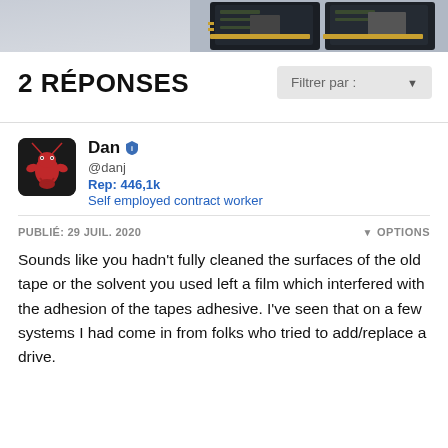[Figure (photo): Header banner showing circuit boards/PCBs on a grey gradient background]
2 RÉPONSES
Filtrer par :
[Figure (illustration): User avatar showing a red lobster/crayfish on dark background]
Dan @danj Rep: 446,1k Self employed contract worker
PUBLIÉ: 29 JUIL. 2020
OPTIONS
Sounds like you hadn't fully cleaned the surfaces of the old tape or the solvent you used left a film which interfered with the adhesion of the tapes adhesive. I've seen that on a few systems I had come in from folks who tried to add/replace a drive.